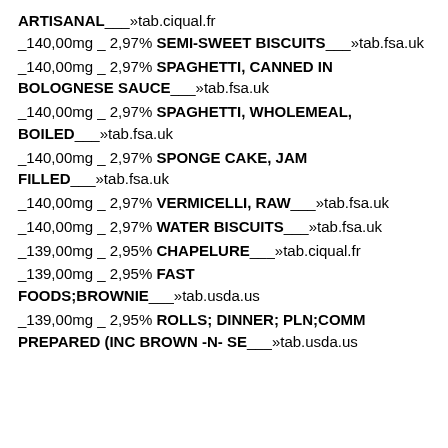ARTISANAL___»tab.ciqual.fr _140,00mg _ 2,97% SEMI-SWEET BISCUITS___»tab.fsa.uk
_140,00mg _ 2,97% SPAGHETTI, CANNED IN BOLOGNESE SAUCE___»tab.fsa.uk
_140,00mg _ 2,97% SPAGHETTI, WHOLEMEAL, BOILED___»tab.fsa.uk
_140,00mg _ 2,97% SPONGE CAKE, JAM FILLED___»tab.fsa.uk
_140,00mg _ 2,97% VERMICELLI, RAW___»tab.fsa.uk
_140,00mg _ 2,97% WATER BISCUITS___»tab.fsa.uk
_139,00mg _ 2,95% CHAPELURE___»tab.ciqual.fr
_139,00mg _ 2,95% FAST FOODS;BROWNIE___»tab.usda.us
_139,00mg _ 2,95% ROLLS; DINNER; PLN;COMM PREPARED (INC BROWN -N- SE___»tab.usda.us